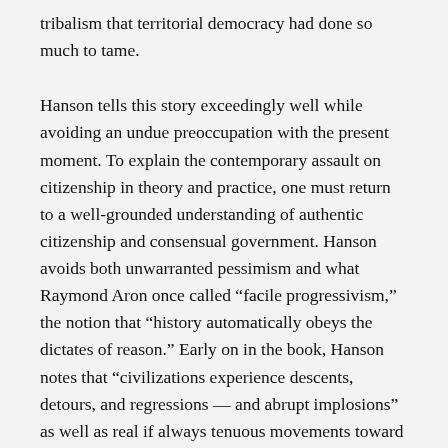tribalism that territorial democracy had done so much to tame.
Hanson tells this story exceedingly well while avoiding an undue preoccupation with the present moment. To explain the contemporary assault on citizenship in theory and practice, one must return to a well-grounded understanding of authentic citizenship and consensual government. Hanson avoids both unwarranted pessimism and what Raymond Aron once called “facile progressivism,” the notion that “history automatically obeys the dictates of reason.” Early on in the book, Hanson notes that “civilizations experience descents, detours, and regressions — and abrupt implosions” as well as real if always tenuous movements toward decency, civic freedom, and material prosperity. And he adds starkly that “history also is